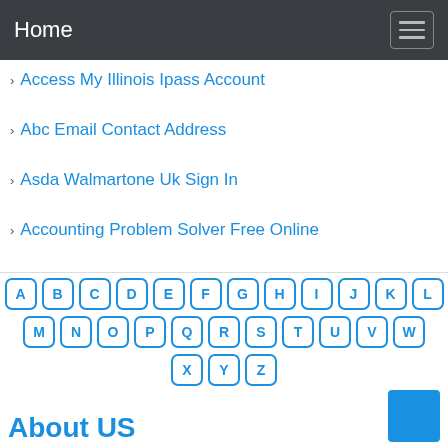Home
Access My Illinois Ipass Account
Abc Email Contact Address
Asda Walmartone Uk Sign In
Accounting Problem Solver Free Online
[Figure (other): Alphabetical keyboard with letter keys A-Z arranged in 3 rows with rounded square buttons in blue outline style]
About US